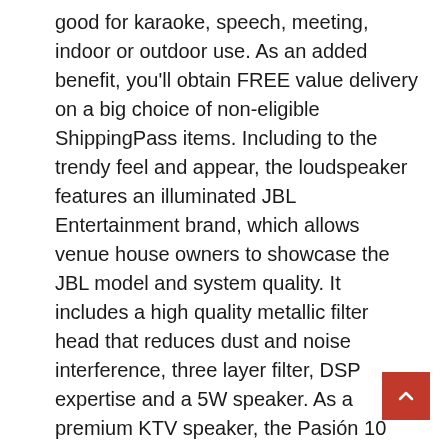good for karaoke, speech, meeting, indoor or outdoor use. As an added benefit, you'll obtain FREE value delivery on a big choice of non-eligible ShippingPass items. Including to the trendy feel and appear, the loudspeaker features an illuminated JBL Entertainment brand, which allows venue house owners to showcase the JBL model and system quality. It includes a high quality metallic filter head that reduces dust and noise interference, three layer filter, DSP expertise and a 5W speaker. As a premium KTV speaker, the Pasión 10 continues JBL's pedigree as a number one karaoke-speaker brand. Prime members enjoy FREE Two-Day Supply and exclusive access to music, movies, TV shows, unique audio sequence, and Kindle books. Smart TELEVISION Connecting from a right...